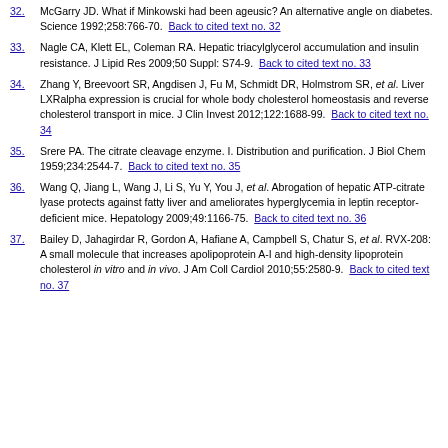32. McGarry JD. What if Minkowski had been ageusic? An alternative angle on diabetes. Science 1992;258:766-70. Back to cited text no. 32
33. Nagle CA, Klett EL, Coleman RA. Hepatic triacylglycerol accumulation and insulin resistance. J Lipid Res 2009;50 Suppl: S74-9. Back to cited text no. 33
34. Zhang Y, Breevoort SR, Angdisen J, Fu M, Schmidt DR, Holmstrom SR, et al. Liver LXRalpha expression is crucial for whole body cholesterol homeostasis and reverse cholesterol transport in mice. J Clin Invest 2012;122:1688-99. Back to cited text no. 34
35. Srere PA. The citrate cleavage enzyme. I. Distribution and purification. J Biol Chem 1959;234:2544-7. Back to cited text no. 35
36. Wang Q, Jiang L, Wang J, Li S, Yu Y, You J, et al. Abrogation of hepatic ATP-citrate lyase protects against fatty liver and ameliorates hyperglycemia in leptin receptor-deficient mice. Hepatology 2009;49:1166-75. Back to cited text no. 36
37. Bailey D, Jahagirdar R, Gordon A, Hafiane A, Campbell S, Chatur S, et al. RVX-208: A small molecule that increases apolipoprotein A-I and high-density lipoprotein cholesterol in vitro and in vivo. J Am Coll Cardiol 2010;55:2580-9. Back to cited text no. 37